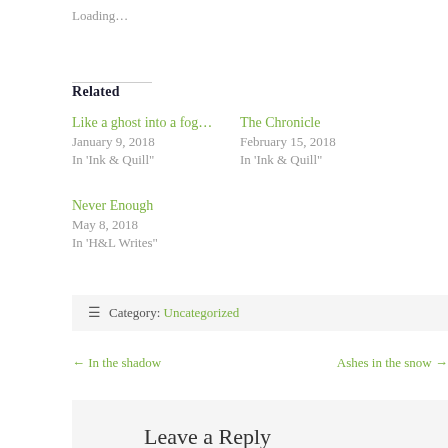Loading…
Related
Like a ghost into a fog…
January 9, 2018
In 'Ink & Quill'
The Chronicle
February 15, 2018
In 'Ink & Quill'
Never Enough
May 8, 2018
In 'H&L Writes'
Category: Uncategorized
← In the shadow    Ashes in the snow →
Leave a Reply